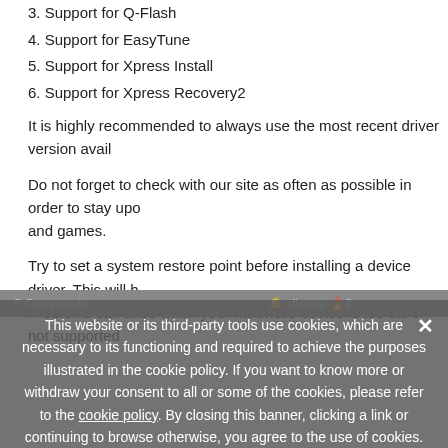3. Support for Q-Flash
4. Support for EasyTune
5. Support for Xpress Install
6. Support for Xpress Recovery2
It is highly recommended to always use the most recent driver version avail...
Do not forget to check with our site as often as possible in order to stay upd... and games.
Try to set a system restore point before installing a device driver. This will h... Problems can arise when your hardware device is too old or not supported...
This website or its third-party tools use cookies, which are necessary to its functioning and required to achieve the purposes illustrated in the cookie policy. If you want to know more or withdraw your consent to all or some of the cookies, please refer to the cookie policy. By closing this banner, clicking a link or continuing to browse otherwise, you agree to the use of cookies.